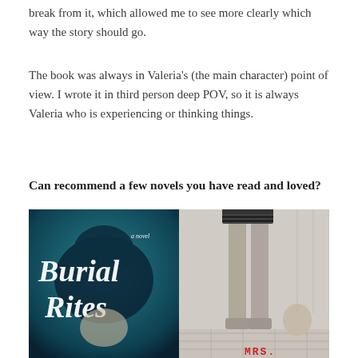break from it, which allowed me to see more clearly which way the story should go.
The book was always in Valeria's (the main character) point of view. I wrote it in third person deep POV, so it is always Valeria who is experiencing or thinking things.
Can recommend a few novels you have read and loved?
[Figure (photo): Two book covers side by side: 'Burial Rites' (a novel) on the left with teal/dark background and cursive white text, and 'MRS.' on the right showing a black and white photo of a person's legs standing over another person.]